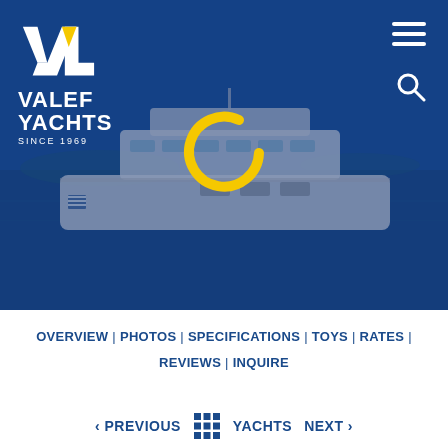[Figure (screenshot): Valef Yachts website screenshot showing hero image with a luxury motor yacht on blue water with Greek flag, overlaid with a deep blue tint. Valef Yachts logo with yellow triangle in top left. Hamburger menu and search icon top right. Large yellow loading spinner C in center of hero image.]
OVERVIEW | PHOTOS | SPECIFICATIONS | TOYS | RATES | REVIEWS | INQUIRE
< PREVIOUS  YACHTS  NEXT >